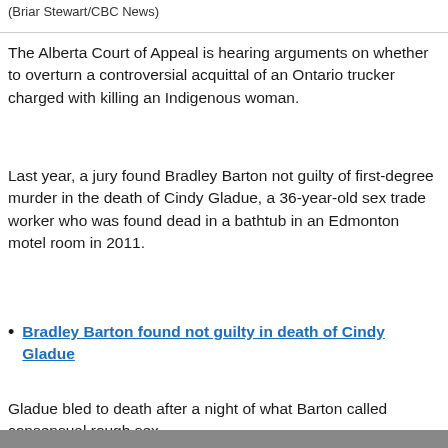(Briar Stewart/CBC News)
The Alberta Court of Appeal is hearing arguments on whether to overturn a controversial acquittal of an Ontario trucker charged with killing an Indigenous woman.
Last year, a jury found Bradley Barton not guilty of first-degree murder in the death of Cindy Gladue, a 36-year-old sex trade worker who was found dead in a bathtub in an Edmonton motel room in 2011.
Bradley Barton found not guilty in death of Cindy Gladue
Gladue bled to death after a night of what Barton called consensual rough sex.
[Figure (photo): Partial bottom edge of a photograph, content mostly cropped]